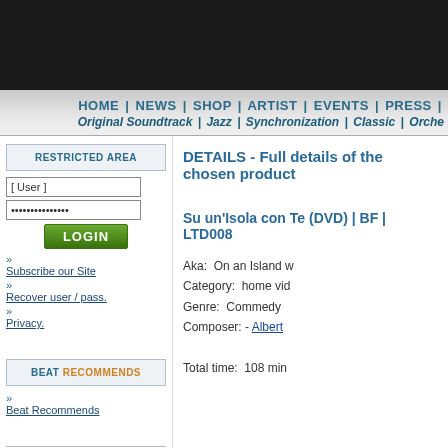[Figure (screenshot): Black header banner area at top of website]
HOME | NEWS | SHOP | ARTIST | EVENTS | PRESS |
Original Soundtrack | Jazz | Synchronization | Classic | Orche
RESTRICTED AREA
[ User ]
***************
LOGIN
Subscribe our Site
Recover user / pass.
Privacy.
BEAT RECOMMENDS
Beat Recommends
Shopping guide
DETAILS - Full details of the chosen product
Su un'Isola con Te (DVD) | BF | LTD008
Aka:  On an Island w
Category:  home vid
Genre:  Commedy
Composer: - Albert
Total time:  108 min